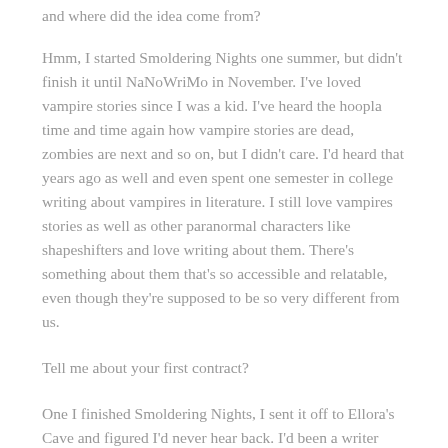and where did the idea come from?
Hmm, I started Smoldering Nights one summer, but didn't finish it until NaNoWriMo in November. I've loved vampire stories since I was a kid. I've heard the hoopla time and time again how vampire stories are dead, zombies are next and so on, but I didn't care. I'd heard that years ago as well and even spent one semester in college writing about vampires in literature. I still love vampires stories as well as other paranormal characters like shapeshifters and love writing about them. There's something about them that's so accessible and relatable, even though they're supposed to be so very different from us.
Tell me about your first contract?
One I finished Smoldering Nights, I sent it off to Ellora's Cave and figured I'd never hear back. I'd been a writer long enough to become accustomed to the void or